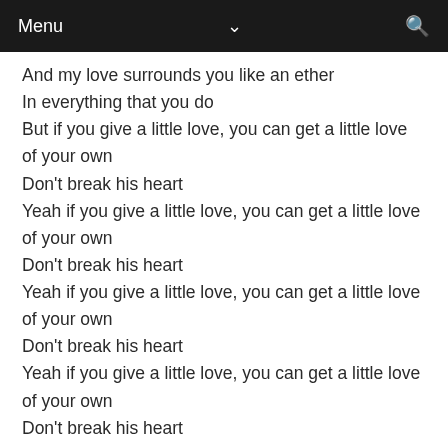Menu
And my love surrounds you like an ether
In everything that you do
But if you give a little love, you can get a little love of your own
Don't break his heart
Yeah if you give a little love, you can get a little love of your own
Don't break his heart
Yeah if you give a little love, you can get a little love of your own
Don't break his heart
Yeah if you give a little love, you can get a little love of your own
Don't break his heart

Well if you are (what you love)
And you do (what you love)
I will always be the sun and moon to you
And if you love with all your love